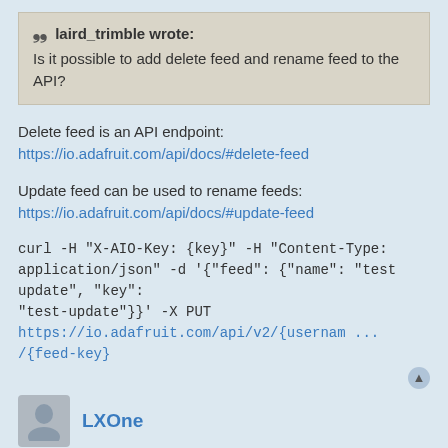laird_trimble wrote: Is it possible to add delete feed and rename feed to the API?
Delete feed is an API endpoint:
https://io.adafruit.com/api/docs/#delete-feed
Update feed can be used to rename feeds:
https://io.adafruit.com/api/docs/#update-feed
curl -H "X-AIO-Key: {key}" -H "Content-Type: application/json" -d '{"feed": {"name": "test update", "key": "test-update"}}' -X PUT https://io.adafruit.com/api/v2/{usernam ... /{feed-key}
LXOne
Re: IDEAS: ADAFRUIT IO FEATURE SUGGESTIONS